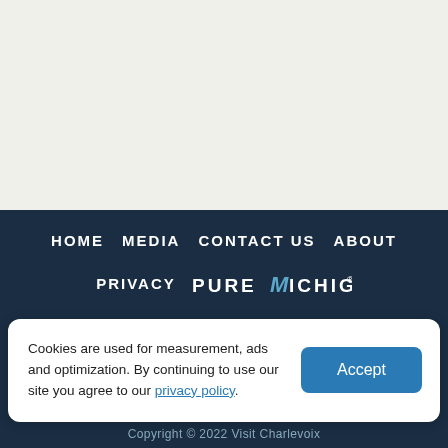[Figure (other): Light beige/off-white blank content area at top of page]
HOME  MEDIA  CONTACT US  ABOUT  PRIVACY  PURE MICHIGAN
Cookies are used for measurement, ads and optimization. By continuing to use our site you agree to our privacy policy.
Copyright © 2022 Visit Charlevoix